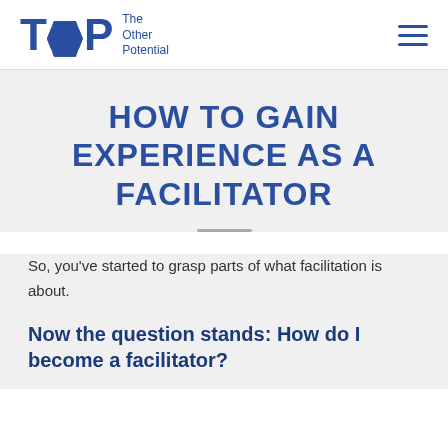TOP The Other Potential
HOW TO GAIN EXPERIENCE AS A FACILITATOR
So, you've started to grasp parts of what facilitation is about.
Now the question stands: How do I become a facilitator?